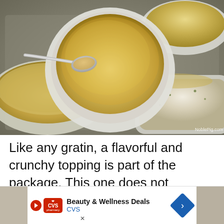[Figure (photo): Overhead photo of white ceramic bowls and ramekins filled with breadcrumb gratin topping. A central round white bowl is heaped with golden breadcrumbs with a spoon resting across it. Surrounding bowls contain a creamy mixture topped with breadcrumbs. Watermark reads 'NoblePig.com'.]
Like any gratin, a flavorful and crunchy topping is part of the package. This one does not disappoint.
[Figure (other): Advertisement banner for CVS pharmacy Beauty & Wellness Deals.]